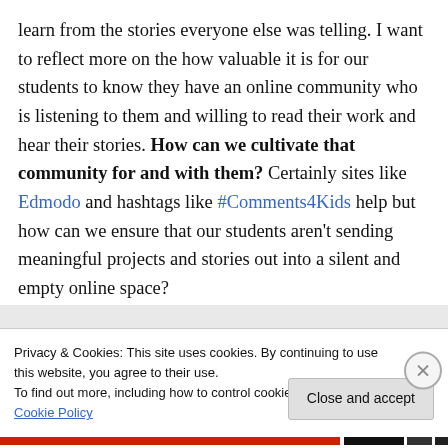learn from the stories everyone else was telling. I want to reflect more on the how valuable it is for our students to know they have an online community who is listening to them and willing to read their work and hear their stories. How can we cultivate that community for and with them? Certainly sites like Edmodo and hashtags like #Comments4Kids help but how can we ensure that our students aren't sending meaningful projects and stories out into a silent and empty online space?
[Figure (photo): Row of circular avatar photos of people partially visible at bottom of content area]
Privacy & Cookies: This site uses cookies. By continuing to use this website, you agree to their use. To find out more, including how to control cookies, see here: Cookie Policy